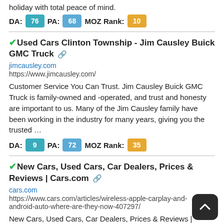holiday with total peace of mind.
DA: 76  PA: 68  MOZ Rank: 10
✔Used Cars Clinton Township - Jim Causley Buick GMC Truck 🔗
jimcausley.com
https://www.jimcausley.com/
Customer Service You Can Trust. Jim Causley Buick GMC Truck is family-owned and -operated, and trust and honesty are important to us. Many of the Jim Causley family have been working in the industry for many years, giving you the trusted …
DA: 9  PA: 72  MOZ Rank: 35
✔New Cars, Used Cars, Car Dealers, Prices & Reviews | Cars.com 🔗
cars.com
https://www.cars.com/articles/wireless-apple-carplay-and-android-auto-where-are-they-now-407297/
New Cars, Used Cars, Car Dealers, Prices & Reviews |